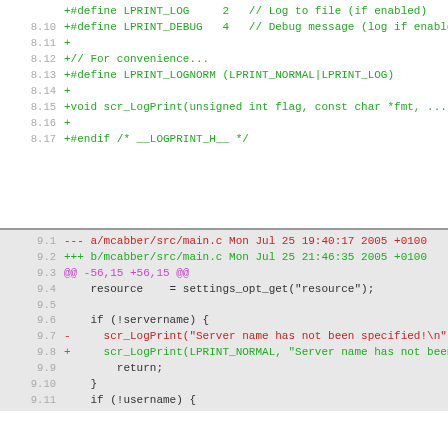[Figure (screenshot): Diff/patch view of source code showing two sections: top section (white background) with green added lines for logprint.h, bottom section (gray background) with a mix of red/green/cyan diff lines for main.c]
Code diff showing changes to mcabber/src/logprint.h and mcabber/src/main.c with line numbers and color-coded additions (green), removals (red), and diff headers (cyan/magenta).